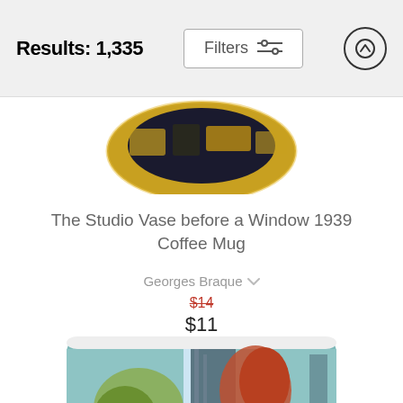Results: 1,335
[Figure (screenshot): Top partial view of a decorative coffee mug showing a circular cross-section with artwork featuring Japanese or decorative patterns in gold, black, and yellow tones]
The Studio Vase before a Window 1939 Coffee Mug
Georges Braque
$14 (strikethrough) $11
[Figure (photo): Bottom portion of a coffee mug with Japanese woodblock print artwork (Hokusai style) showing a waterfall and trees on a teal/light blue background mug]